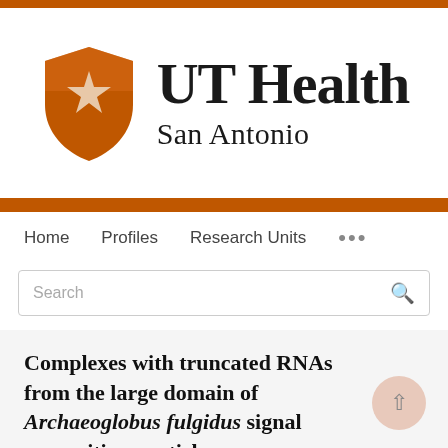[Figure (logo): UT Health San Antonio logo with orange shield containing a star, and serif text reading 'UT Health' and 'San Antonio']
Home   Profiles   Research Units   ...
Search
Complexes with truncated RNAs from the large domain of Archaeoglobus fulgidus signal recognition particle